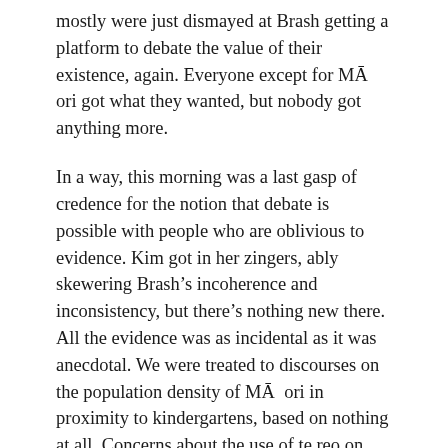mostly were just dismayed at Brash getting a platform to debate the value of their existence, again. Everyone except for MĀ ori got what they wanted, but nobody got anything more.
In a way, this morning was a last gasp of credence for the notion that debate is possible with people who are oblivious to evidence. Kim got in her zingers, ably skewering Brash's incoherence and inconsistency, but there's nothing new there. All the evidence was as incidental as it was anecdotal. We were treated to discourses on the population density of MĀ ori in proximity to kindergartens, based on nothing at all. Concerns about the use of te reo on RNZ cannibalising the audience of MĀ ori language radio and TV stations, without any reference to what those flaxroots practitioners of te reo want. And discourses about actual cannibalism and the stone-age pre-settlement society, where listeners were asked to accept the claim that the deliverance of the MĀ ori from their horrid existence was worth any price, up to and including